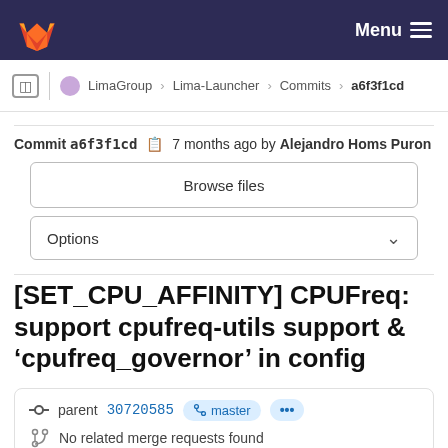Menu
LimaGroup > Lima-Launcher > Commits > a6f3f1cd
Commit a6f3f1cd  7 months ago by Alejandro Homs Puron
Browse files
Options
[SET_CPU_AFFINITY] CPUFreq: support cpufreq-utils support & 'cpufreq_governor' in config
parent 30720585  master  ...
No related merge requests found